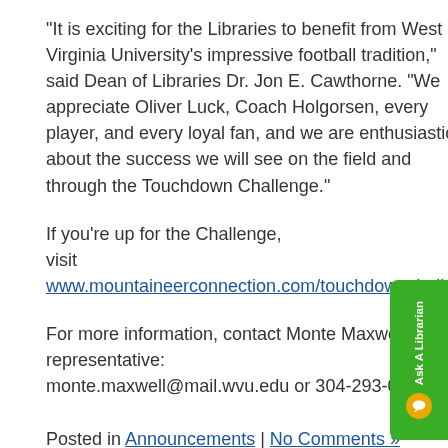“It is exciting for the Libraries to benefit from West Virginia University’s impressive football tradition,” said Dean of Libraries Dr. Jon E. Cawthorne. “We appreciate Oliver Luck, Coach Holgorsen, every player, and every loyal fan, and we are enthusiastic about the success we will see on the field and through the Touchdown Challenge.”
If you’re up for the Challenge, visit www.mountaineerconnection.com/touchdownchallen
For more information, contact Monte Maxwell, Libraries development representative: monte.maxwell@mail.wvu.edu or 304-293-0306.
Posted in Announcements | No Comments »